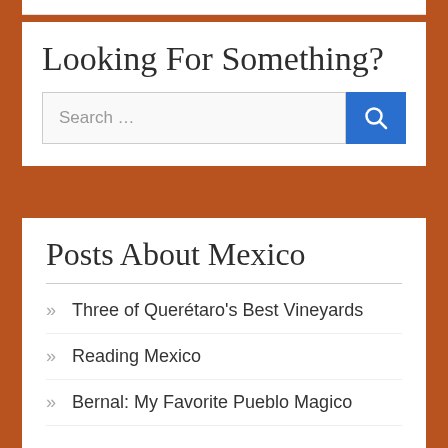Looking For Something?
[Figure (other): Search input bar with blue search button icon]
Posts About Mexico
Three of Querétaro's Best Vineyards
Reading Mexico
Bernal: My Favorite Pueblo Magico